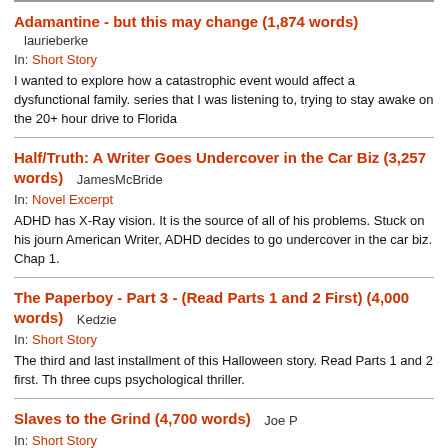Adamantine - but this may change (1,874 words)
laurieberke
In: Short Story
I wanted to explore how a catastrophic event would affect a dysfunctional family. series that I was listening to, trying to stay awake on the 20+ hour drive to Florida
Half/Truth: A Writer Goes Undercover in the Car Biz (3,257 words)
JamesMcBride
In: Novel Excerpt
ADHD has X-Ray vision. It is the source of all of his problems. Stuck on his journ American Writer, ADHD decides to go undercover in the car biz. Chap 1.
The Paperboy - Part 3 - (Read Parts 1 and 2 First) (4,000 words)
Kedzie
In: Short Story
The third and last installment of this Halloween story. Read Parts 1 and 2 first. Th three cups psychological thriller.
Slaves to the Grind (4,700 words)
Joe P
In: Short Story
A 9-5 worker gets his caffeine fix on a Monday morning interrupted. Madness ens